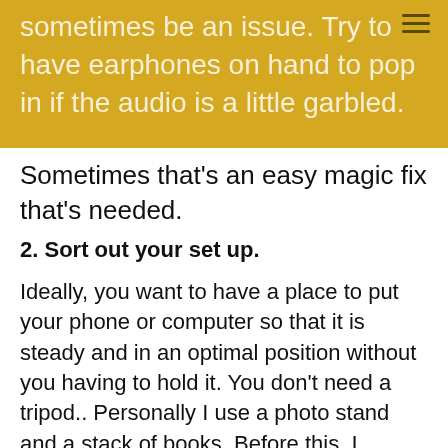sometimes be an issue. Try to have earphones on hand to pop in if the audio is a little garbled.
Sometimes that's an easy magic fix that's needed.
2. Sort out your set up.
Ideally, you want to have a place to put your phone or computer so that it is steady and in an optimal position without you having to hold it. You don't need a tripod.. Personally I use a photo stand and a stack of books. Before this, I propped my phone on a few boxes and held it steady with Blu-Tak. Whatever works! If using a separate camera device, try to place it somewhere that allows you to look at the screen and cameras in the same general direction.